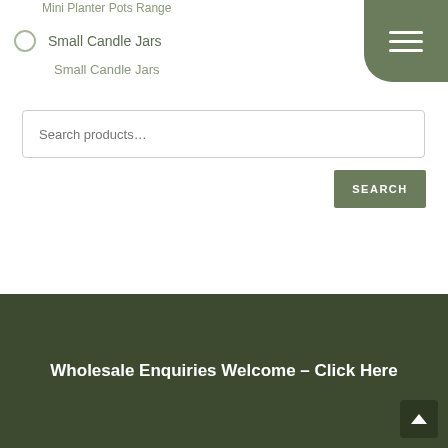Mini Planter Pots Range
Small Candle Jars
Small Candle Jars
Search products…
SEARCH
Wholesale Enquiries Welcome – Click Here